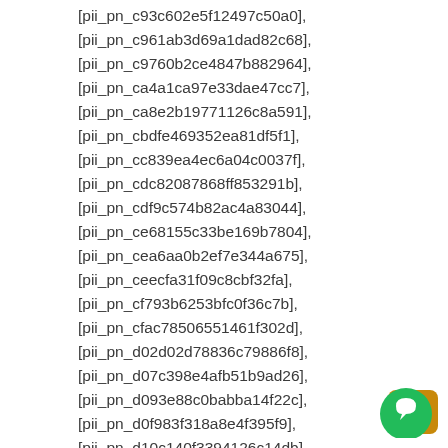[pii_pn_c93c602e5f12497c50a0], [pii_pn_c961ab3d69a1dad82c68], [pii_pn_c9760b2ce4847b882964], [pii_pn_ca4a1ca97e33dae47cc7], [pii_pn_ca8e2b19771126c8a591], [pii_pn_cbdfe469352ea81df5f1], [pii_pn_cc839ea4ec6a04c0037f], [pii_pn_cdc82087868ff853291b], [pii_pn_cdf9c574b82ac4a83044], [pii_pn_ce68155c33be169b7804], [pii_pn_cea6aa0b2ef7e344a675], [pii_pn_ceecfa31f09c8cbf32fa], [pii_pn_cf793b6253bfc0f36c7b], [pii_pn_cfac78506551461f302d], [pii_pn_d02d02d78836c79886f8], [pii_pn_d07c398e4afb51b9ad26], [pii_pn_d093e88c0babba14f22c], [pii_pn_d0f983f318a8e4f395f9], [pii_pn_d10c140f3394126c14db], [pii_pn_d13f1fdff9b7d6c52016], [pii_pn_d19d4c7beeec366bb167],
[Figure (other): Chat widget button with green circle and white chat icon, and an orange/brown background rectangle behind it]